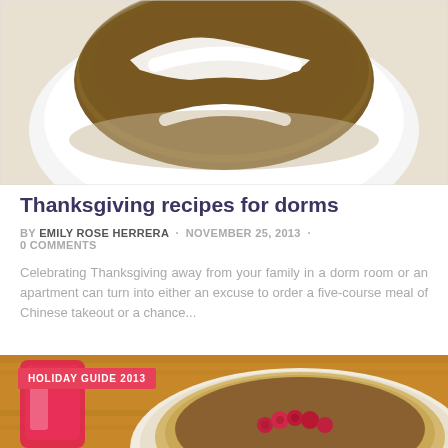[Figure (photo): Close-up photo of a baked good (muffin or cupcake) with white frosting on a white plate, viewed from above, partially cropped at top]
Thanksgiving recipes for dorms
by EMILY ROSE HERRERA · NOVEMBER 25, 2013 · 0 COMMENTS
Celebrating Thanksgiving away from your family in a dorm room or an apartment can turn into either an excuse to order a five-course meal of Chinese takeout or a chance...
[Figure (photo): Photo of a pie with raspberry decoration on a wooden surface, partially visible, with a red candle glass in the foreground. Badge reads HOLIDAY GUIDE 2013]